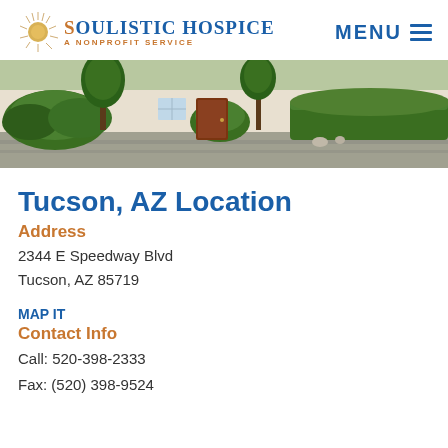Soulistic Hospice - A Nonprofit Service | MENU
[Figure (photo): Exterior photo of a white building with green bushes and trees, a brown door visible in center, with a driveway in front.]
Tucson, AZ Location
Address
2344 E Speedway Blvd
Tucson, AZ 85719
MAP IT
Contact Info
Call: 520-398-2333
Fax: (520) 398-9524